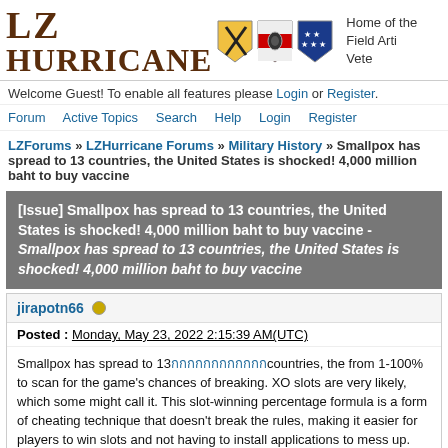[Figure (logo): LZ Hurricane forum logo with military shields and site name]
Welcome Guest! To enable all features please Login or Register.
Forum   Active Topics   Search   Help   Login   Register
LZForums » LZHurricane Forums » Military History » Smallpox has spread to 13 countries, the United States is shocked! 4,000 million baht to buy vaccine
[Issue] Smallpox has spread to 13 countries, the United States is shocked! 4,000 million baht to buy vaccine - Smallpox has spread to 13 countries, the United States is shocked! 4,000 million baht to buy vaccine
jirapotn66
Posted : Monday, May 23, 2022 2:15:39 AM(UTC)
Smallpox has spread to 13 [Thai text] countries, the from 1-100% to scan for the game's chances of breaking. XO slots are very likely, which some might call it. This slot-winning percentage formula is a form of cheating technique that doesn't break the rules, making it easier for players to win slots and not having to install applications to mess up. United States is shocked! 4,000 million baht to buy vaccines
Israel became the latest country to have a case of monkeypox in the country on May 20. resulting in the latest Smallpox cases of monkeypox found outside Africa in 13 countries

Israeli media Haaretz reported that a man infected with monkeypox was admitted to Ichilov Hospital, in Tel Aviv Israel The man had just returned from Western Europe. While the symptoms